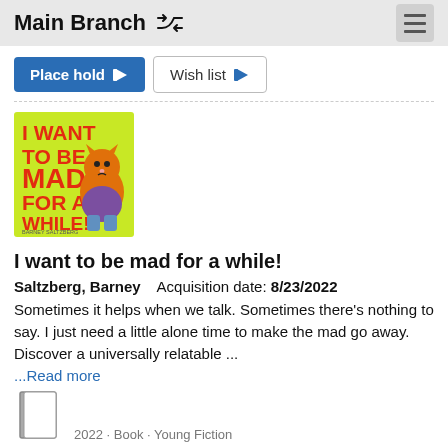Main Branch
Place hold   Wish list
[Figure (illustration): Book cover: 'I Want to Be Mad for a While!' by Barney Saltzberg. Green background with large red text and an orange cat character wearing a purple shirt.]
I want to be mad for a while!
Saltzberg, Barney   Acquisition date: 8/23/2022
Sometimes it helps when we talk. Sometimes there's nothing to say. I just need a little alone time to make the mad go away. Discover a universally relatable ...
...Read more
[Figure (illustration): Book/document icon, grey and white, partially visible at bottom of page.]